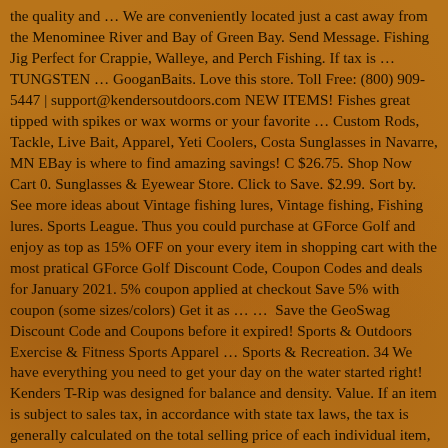the quality and … We are conveniently located just a cast away from the Menominee River and Bay of Green Bay. Send Message. Fishing Jig Perfect for Crappie, Walleye, and Perch Fishing. If tax is … TUNGSTEN … GooganBaits. Love this store. Toll Free: (800) 909-5447 | support@kendersoutdoors.com NEW ITEMS! Fishes great tipped with spikes or wax worms or your favorite … Custom Rods, Tackle, Live Bait, Apparel, Yeti Coolers, Costa Sunglasses in Navarre, MN EBay is where to find amazing savings! C $26.75. Shop Now Cart 0. Sunglasses & Eyewear Store. Click to Save. $2.99. Sort by. See more ideas about Vintage fishing lures, Vintage fishing, Fishing lures. Sports League. Thus you could purchase at GForce Golf and enjoy as top as 15% OFF on your every item in shopping cart with the most pratical GForce Golf Discount Code, Coupon Codes and deals for January 2021. 5% coupon applied at checkout Save 5% with coupon (some sizes/colors) Get it as … …  Save the GeoSwag Discount Code and Coupons before it expired! Sports & Outdoors Exercise & Fitness Sports Apparel … Sports & Recreation. 34 We have everything you need to get your day on the water started right! Kenders T-Rip was designed for balance and density. Value. If an item is subject to sales tax, in accordance with state tax laws, the tax is generally calculated on the total selling price of each individual item, including shipping and handling charges, gift-wrap charges and other service charges, less any applicable discounts. KENDERS OUTDOORS - ICE FISHING . Also built into the T-Rip is a sound